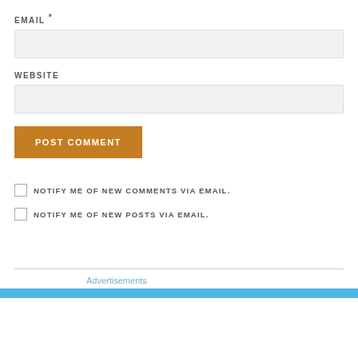EMAIL *
[Figure (other): Empty email input text field]
WEBSITE
[Figure (other): Empty website input text field]
POST COMMENT
NOTIFY ME OF NEW COMMENTS VIA EMAIL.
NOTIFY ME OF NEW POSTS VIA EMAIL.
Advertisements